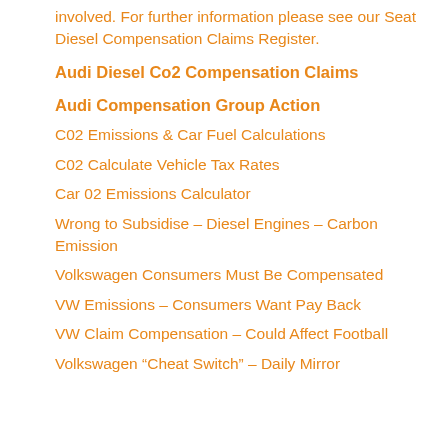involved. For further information please see our Seat Diesel Compensation Claims Register.
Audi Diesel Co2 Compensation Claims
Audi Compensation Group Action
C02 Emissions & Car Fuel Calculations
C02 Calculate Vehicle Tax Rates
Car 02 Emissions Calculator
Wrong to Subsidise – Diesel Engines – Carbon Emission
Volkswagen Consumers Must Be Compensated
VW Emissions – Consumers Want Pay Back
VW Claim Compensation – Could Affect Football
Volkswagen “Cheat Switch” – Daily Mirror